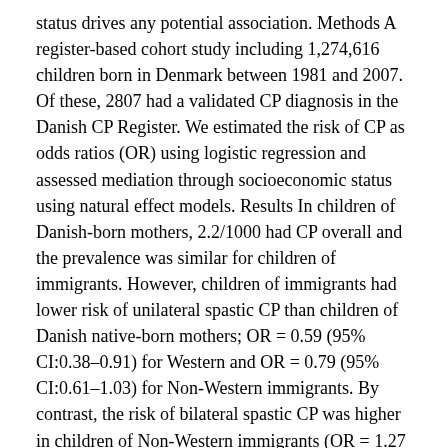status drives any potential association. Methods A register-based cohort study including 1,274,616 children born in Denmark between 1981 and 2007. Of these, 2807 had a validated CP diagnosis in the Danish CP Register. We estimated the risk of CP as odds ratios (OR) using logistic regression and assessed mediation through socioeconomic status using natural effect models. Results In children of Danish-born mothers, 2.2/1000 had CP overall and the prevalence was similar for children of immigrants. However, children of immigrants had lower risk of unilateral spastic CP than children of Danish native-born mothers; OR = 0.59 (95% CI:0.38–0.91) for Western and OR = 0.79 (95% CI:0.61–1.03) for Non-Western immigrants. By contrast, the risk of bilateral spastic CP was higher in children of Non-Western immigrants (OR = 1.27 (95% CI:1.05–1.53)), especially from Turkey and Pakistan compared with children of Danish native-born mothers. The mediation analysis revealed an indirect effect (through maternal educational level and household income) with an OR of 1.06 (95%